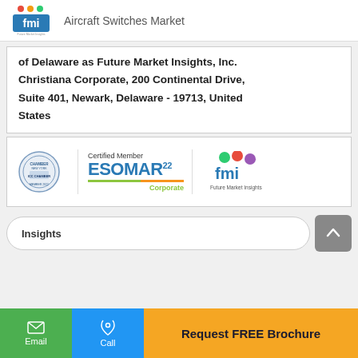Aircraft Switches Market
of Delaware as Future Market Insights, Inc. Christiana Corporate, 200 Continental Drive, Suite 401, Newark, Delaware - 19713, United States
[Figure (logo): ESOMAR22 Corporate Certified Member logo and FMI Future Market Insights logo with Chamber of Commerce member 2022 seal]
Insights
[Figure (infographic): Bottom navigation bar with Email button (green), Call button (blue), and Request FREE Brochure button (orange/yellow)]